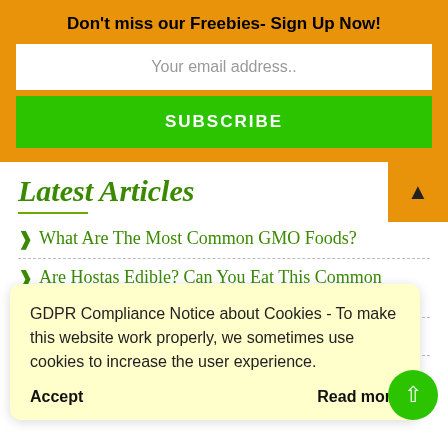Don't miss our Freebies- Sign Up Now!
Your email address..
SUBSCRIBE
Latest Articles
What Are The Most Common GMO Foods?
Are Hostas Edible? Can You Eat This Common Garden Plant
e System
ing Routine
GDPR Compliance Notice about Cookies - To make this website work properly, we sometimes use cookies to increase the user experience.
Accept
Read more
Repeating the Pattern of Dysfunctional